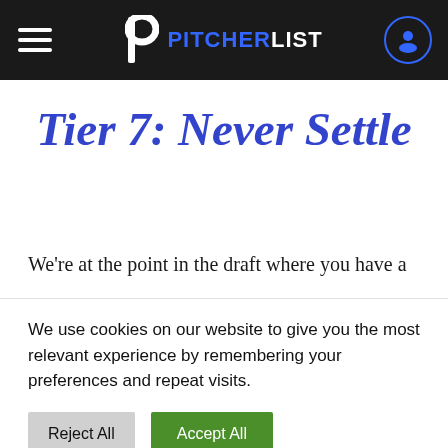PITCHERLIST
Tier 7: Never Settle
We're at the point in the draft where you have a
We use cookies on our website to give you the most relevant experience by remembering your preferences and repeat visits.
Reject All  Accept All